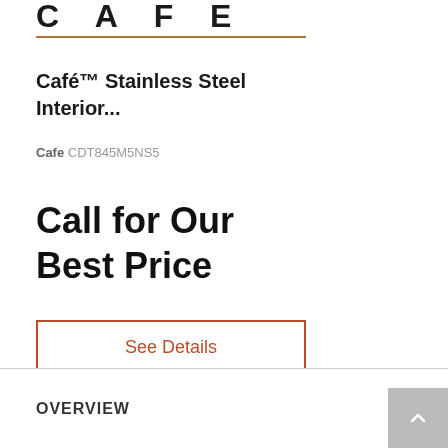[Figure (logo): CAFE brand logo with text C A F E and a reddish-brown underline]
Café™ Stainless Steel Interior...
Cafe CDT845M5NS5
Call for Our Best Price
See Details
OVERVIEW